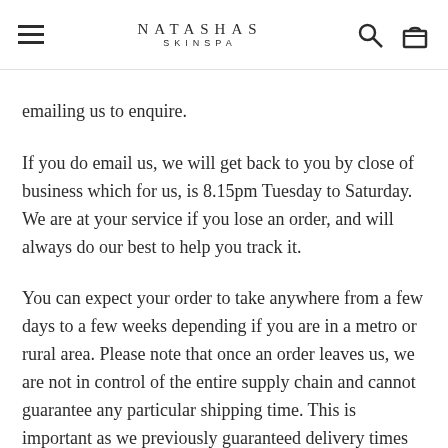NATASHAS SKINSPA
emailing us to enquire.
If you do email us, we will get back to you by close of business which for us, is 8.15pm Tuesday to Saturday.  We are at your service if you lose an order, and will always do our best to help you track it.
You can expect your order to take anywhere from a few days to a few weeks depending if you are in a metro or rural area.  Please note that once an order leaves us, we are not in control of the entire supply chain and cannot guarantee any particular shipping time.  This is important as we previously guaranteed delivery times and can no